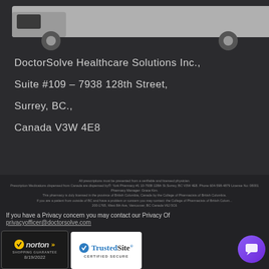[Figure (illustration): Gray truck/van illustration on dark background]
DoctorSolve Healthcare Solutions Inc.,
Suite #109 – 7938 128th Street,
Surrey, BC.,
Canada V3W 4E8
All prescriptions must be presented from a verifiable and licensed physician. Prescription Medications dispensed from Canada are dispensed by®: York Pharmacy #1 10-7938 128th St.Surrey, BC V3W 4E8. Phone 604-598-4879 License No: 08001 Pharmacy Manager: Grace Kim. This pharmacy is duly licensed in the province of British Columbia, Canada by the College of Pharmacists of British Columbia. If you are a patient from outside of BC and have a problem or concern you may contact: the College of Pharmacists of British Columbia, 200-1765, West 8th Ave, Vancouver, BC Canada V6J 5C6
If you have a Privacy concern you may contact our Privacy Of
privacyofficer@doctorsolve.com
[Figure (logo): Norton Shopping Guarantee badge with checkmark, dated 8/19/2022]
[Figure (logo): TrustedSite Certified Secure badge]